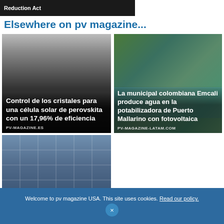[Figure (photo): Dark banner image with text 'Reduction Act' on dark background]
Elsewhere on pv magazine...
[Figure (photo): Card image with dark gradient background — article about perovskite solar cell crystal control with 17.96% efficiency, source pv-magazine.es]
[Figure (photo): Aerial photo of water treatment facility with solar panels in Colombia — Emcali produces drinking water at Puerto Mallarino with photovoltaics, source pv-magazine-latam.com]
[Figure (photo): Aerial view of large solar panel installation — article about largest solar plants, partially visible]
Welcome to pv magazine USA. This site uses cookies. Read our policy.